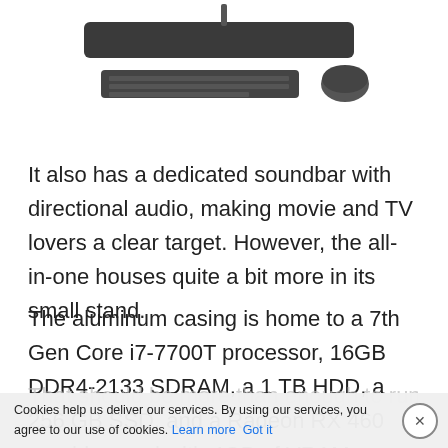[Figure (photo): Product photo of an HP all-in-one computer soundbar/base unit with a keyboard and mouse below it, on a white background.]
It also has a dedicated soundbar with directional audio, making movie and TV lovers a clear target. However, the all-in-one houses quite a bit more in its small stand.
The aluminum casing is home to a 7th Gen Core i7-7700T processor, 16GB DDR4-2133 SDRAM, a 1 TB HDD, a 256 GB SSD, and a Radeon RX 460 graphics card with 4GB of VRAM.
Cookies help us deliver our services. By using our services, you agree to our use of cookies. Learn more  Got it
That should be more than enough to run some l...